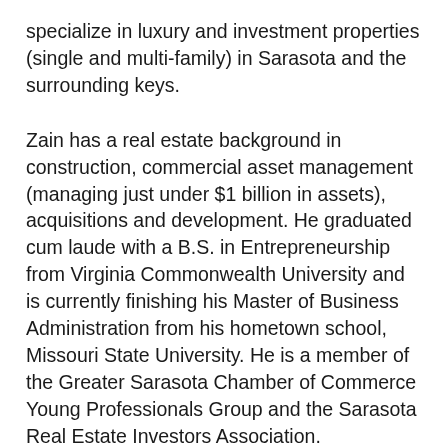specialize in luxury and investment properties (single and multi-family) in Sarasota and the surrounding keys.
Zain has a real estate background in construction, commercial asset management (managing just under $1 billion in assets), acquisitions and development. He graduated cum laude with a B.S. in Entrepreneurship from Virginia Commonwealth University and is currently finishing his Master of Business Administration from his hometown school, Missouri State University. He is a member of the Greater Sarasota Chamber of Commerce Young Professionals Group and the Sarasota Real Estate Investors Association.
Brooke began her career as a real estate and land use attorney at Venable, LLP in Washington DC. She received